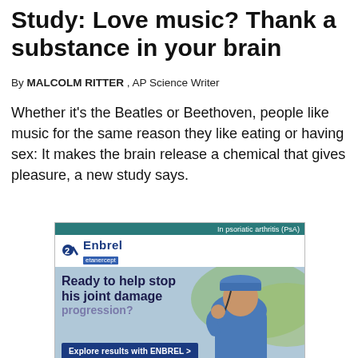Study: Love music? Thank a substance in your brain
By MALCOLM RITTER , AP Science Writer
Whether it's the Beatles or Beethoven, people like music for the same reason they like eating or having sex: It makes the brain release a chemical that gives pleasure, a new study says.
[Figure (other): Enbrel (etanercept) pharmaceutical advertisement showing a man wearing a hard hat with text 'Ready to help stop his joint damage progression?' and 'Explore results with ENBREL'. Important safety information section below mentioning serious infections risk.]